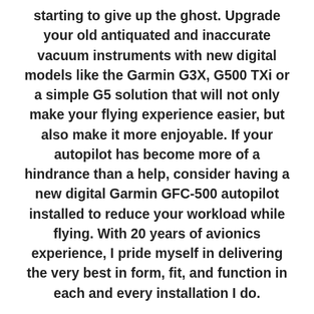starting to give up the ghost. Upgrade your old antiquated and inaccurate vacuum instruments with new digital models like the Garmin G3X, G500 TXi or a simple G5 solution that will not only make your flying experience easier, but also make it more enjoyable. If your autopilot has become more of a hindrance than a help, consider having a new digital Garmin GFC-500 autopilot installed to reduce your workload while flying. With 20 years of avionics experience, I pride myself in delivering the very best in form, fit, and function in each and every installation I do.